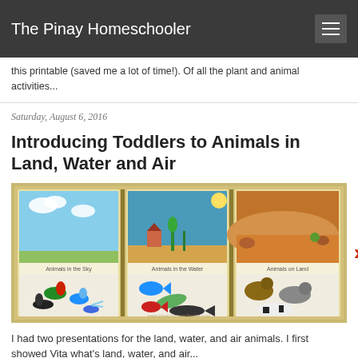The Pinay Homeschooler
this printable (saved me a lot of time!). Of all the plant and animal activities...
Saturday, August 6, 2016
Introducing Toddlers to Animals in Land, Water and Air
[Figure (photo): Three educational cards showing Animals in the Sky, Animals in the Water, and Animals on Land, with toy animal figurines placed on each card. Website watermark: www.pinayhomeschooler.com]
I had two presentations for the land, water, and air animals. I first showed Vita what's land, water, and air...